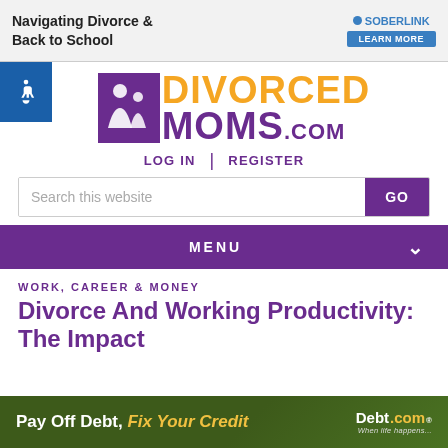[Figure (screenshot): Soberlink advertisement banner: 'Navigating Divorce & Back to School' with SOBERLINK logo and LEARN MORE button]
[Figure (logo): Accessibility wheelchair icon in blue square]
[Figure (logo): DivorcedMoms.com logo with purple icon and orange/purple text]
LOG IN | REGISTER
Search this website  GO
MENU
WORK, CAREER & MONEY
Divorce And Working Productivity: The Impact
[Figure (screenshot): Debt.com advertisement: 'Pay Off Debt, Fix Your Credit' with Debt.com logo]